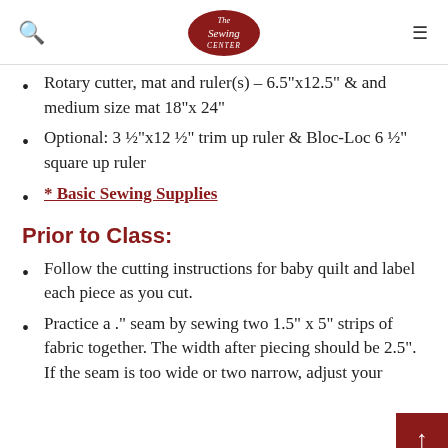The Sewing Center
Rotary cutter, mat and ruler(s) – 6.5"x12.5" & and medium size mat 18"x 24"
Optional: 3 ½"x12 ½" trim up ruler & Bloc-Loc 6 ½" square up ruler
* Basic Sewing Supplies
Prior to Class:
Follow the cutting instructions for baby quilt and label each piece as you cut.
Practice a ." seam by sewing two 1.5" x 5" strips of fabric together. The width after piecing should be 2.5". If the seam is too wide or two narrow, adjust your